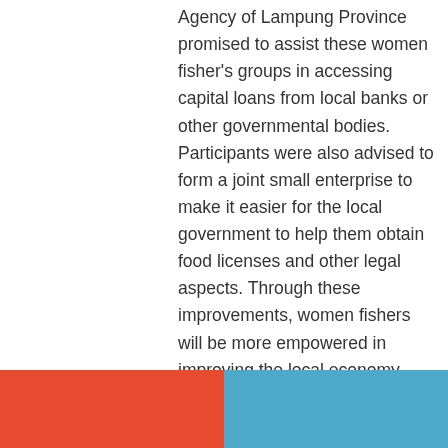Agency of Lampung Province promised to assist these women fisher's groups in accessing capital loans from local banks or other governmental bodies. Participants were also advised to form a joint small enterprise to make it easier for the local government to help them obtain food licenses and other legal aspects. Through these improvements, women fishers will be more empowered in improving the local economy.
Most training participants felt that the training provided new knowledge and skills in product and business development. Participants also committed to run some action plans in the future to realize the drafted business canvas.